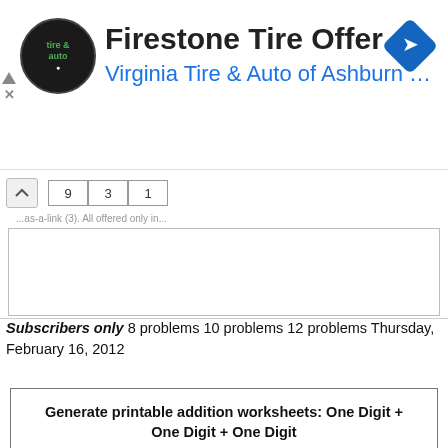[Figure (screenshot): Advertisement banner for Firestone Tire Offer by Virginia Tire & Auto of Ashburn with logo and navigation icon]
[Figure (screenshot): Partial view of a printable addition worksheet showing cells with numbers and a blank box below]
Subscribers only 8 problems 10 problems 12 problems Thursday, February 16, 2012
Generate printable addition worksheets: One Digit + One Digit + One Digit
Click on one of the thumbnails below to generate a printable addition worksheet (one page of questions and one page of answers).
Every time you click you get a new printable worksheet, with a new set of problems.
[Figure (screenshot): Bottom section showing FOR SUBSCRIBERS ONLY thumbnail area and green colored boxes]